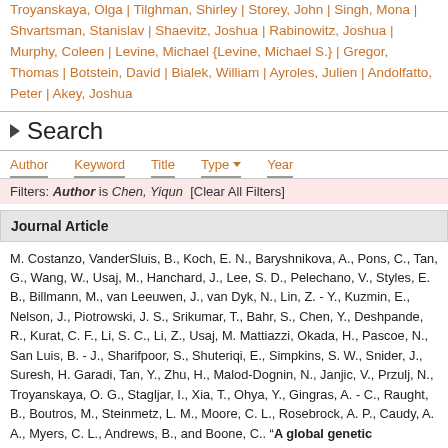Troyanskaya, Olga | Tilghman, Shirley | Storey, John | Singh, Mona | Shvartsman, Stanislav | Shaevitz, Joshua | Rabinowitz, Joshua | Murphy, Coleen | Levine, Michael {Levine, Michael S.} | Gregor, Thomas | Botstein, David | Bialek, William | Ayroles, Julien | Andolfatto, Peter | Akey, Joshua
Search
Author  Keyword  Title  Type  Year
Filters: Author is Chen, Yiqun  [Clear All Filters]
Journal Article
M. Costanzo, VanderSluis, B., Koch, E. N., Baryshnikova, A., Pons, C., Tan, G., Wang, W., Usaj, M., Hanchard, J., Lee, S. D., Pelechano, V., Styles, E. B., Billmann, M., van Leeuwen, J., van Dyk, N., Lin, Z. - Y., Kuzmin, E., Nelson, J., Piotrowski, J. S., Srikumar, T., Bahr, S., Chen, Y., Deshpande, R., Kurat, C. F., Li, S. C., Li, Z., Usaj, M. Mattiazzi, Okada, H., Pascoe, N., San Luis, B. - J., Sharifpoor, S., Shuteriqi, E., Simpkins, S. W., Snider, J., Suresh, H. Garadi, Tan, Y., Zhu, H., Malod-Dognin, N., Janjic, V., Przulj, N., Troyanskaya, O. G., Stagljar, I., Xia, T., Ohya, Y., Gingras, A. - C., Raught, B., Boutros, M., Steinmetz, L. M., Moore, C. L., Rosebrock, A. P., Caudy, A. A., Myers, C. L., Andrews, B., and Boone, C.. "A global genetic interaction network maps a wiring diagram